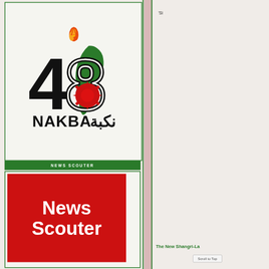[Figure (logo): Nakba 48 logo with flame, map of Palestine, and Arabic/English text reading NAKBA نكبة]
NEWS SCOUTER
[Figure (logo): News Scouter red logo with white bold text 'News Scouter']
'Si
The New Shangri-La
Scroll to Top